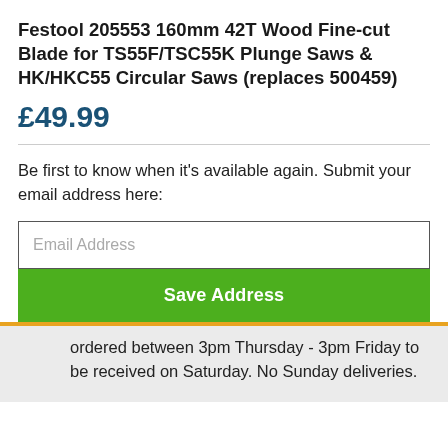Festool 205553 160mm 42T Wood Fine-cut Blade for TS55F/TSC55K Plunge Saws & HK/HKC55 Circular Saws (replaces 500459)
£49.99
Be first to know when it's available again. Submit your email address here:
Email Address
Save Address
ordered between 3pm Thursday - 3pm Friday to be received on Saturday. No Sunday deliveries.